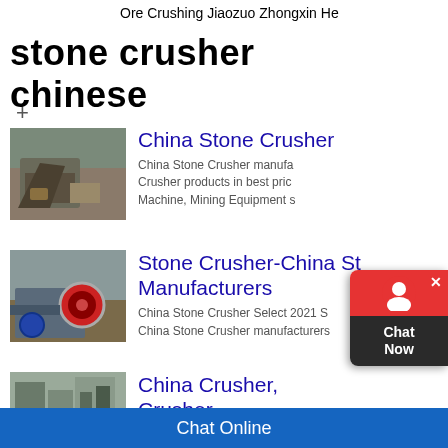Ore Crushing Jiaozuo Zhongxin He
stone crusher chinese
+
[Figure (photo): Stone crusher machine in quarry/outdoor setting]
China Stone Crusher
China Stone Crusher manufacturers - Crusher products in best price, Machine, Mining Equipment s
[Figure (photo): Stone crusher machinery with large wheel/motor]
Stone Crusher-China Stone Crusher Manufacturers
China Stone Crusher Select 2021 S China Stone Crusher manufacturers
[Figure (photo): China crusher building/facility]
China Crusher, Crusher Suppliers, Price
[Figure (other): Chat Now popup overlay with red header and dark background]
Chat Online